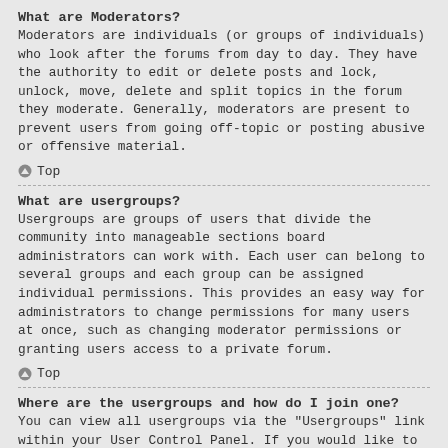What are Moderators?
Moderators are individuals (or groups of individuals) who look after the forums from day to day. They have the authority to edit or delete posts and lock, unlock, move, delete and split topics in the forum they moderate. Generally, moderators are present to prevent users from going off-topic or posting abusive or offensive material.
⬆ Top
What are usergroups?
Usergroups are groups of users that divide the community into manageable sections board administrators can work with. Each user can belong to several groups and each group can be assigned individual permissions. This provides an easy way for administrators to change permissions for many users at once, such as changing moderator permissions or granting users access to a private forum.
⬆ Top
Where are the usergroups and how do I join one?
You can view all usergroups via the "Usergroups" link within your User Control Panel. If you would like to join one, proceed by clicking the appropriate button. Not all groups have open access, however. Some may require approval to join, some may be closed and some may even have hidden memberships. If the group is open, you can